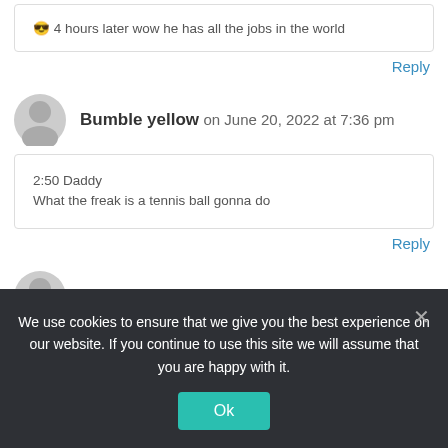😎 4 hours later wow he has all the jobs in the world
Reply
Bumble yellow on June 20, 2022 at 7:36 pm
2:50 Daddy
What the freak is a tennis ball gonna do
Reply
Eli Mcclaskey on June 20, 2022 at 7:37 pm
We use cookies to ensure that we give you the best experience on our website. If you continue to use this site we will assume that you are happy with it.